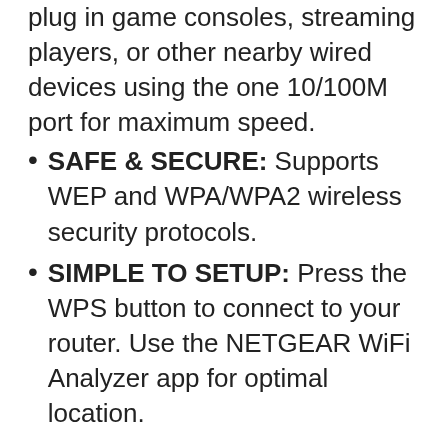plug in game consoles, streaming players, or other nearby wired devices using the one 10/100M port for maximum speed.
SAFE & SECURE: Supports WEP and WPA/WPA2 wireless security protocols.
SIMPLE TO SETUP: Press the WPS button to connect to your router. Use the NETGEAR WiFi Analyzer app for optimal location.
$26.69 Prime
Buy on Amazon